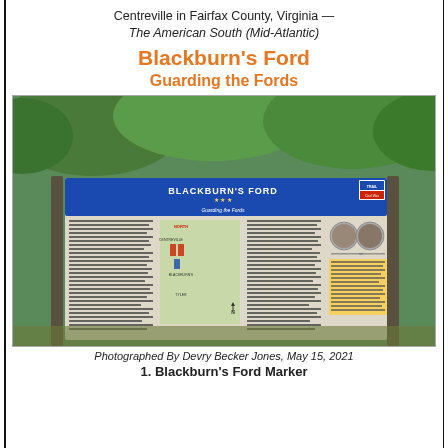Centreville in Fairfax County, Virginia — The American South (Mid-Atlantic)
Blackburn's Ford
Guarding the Fords
[Figure (photo): Photograph of the Blackburn's Ford wayside marker sign mounted on posts outdoors. The sign has a blue header reading 'BLACKBURN'S FORD - Guarding the Fords' with three stars. The sign body contains descriptive text, a period map, portraits of two officers, and a yellow highlighted text section. Background shows green vegetation.]
Photographed By Devry Becker Jones, May 15, 2021
1. Blackburn's Ford Marker